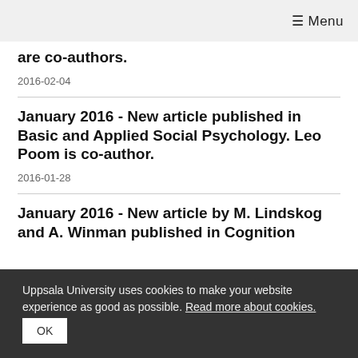≡ Menu
are co-authors.
2016-02-04
January 2016 - New article published in Basic and Applied Social Psychology. Leo Poom is co-author.
2016-01-28
January 2016 - New article by M. Lindskog and A. Winman published in Cognition
Uppsala University uses cookies to make your website experience as good as possible. Read more about cookies.